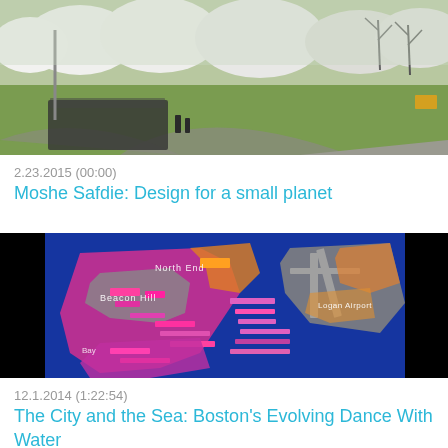[Figure (photo): Outdoor park scene with cherry blossoms and a crowd of people on a path, green lawn and bare trees in background]
2.23.2015 (00:00)
Moshe Safdie: Design for a small planet
[Figure (map): Aerial infrared false-color map of Boston showing North End, Beacon Hill, and Logan Airport with pink, orange, magenta, and gray color coding]
12.1.2014 (1:22:54)
The City and the Sea: Boston's Evolving Dance With Water